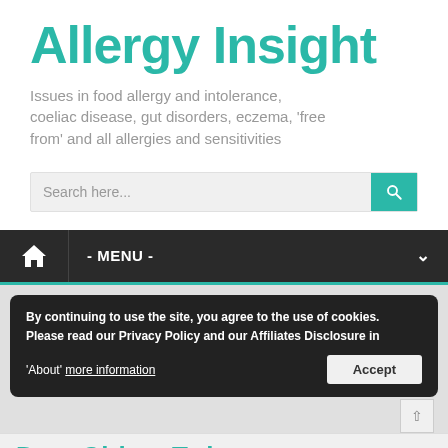Allergy Insight
Issues in food allergy and intolerance, coeliac disease, gut disorders, eczema, 'free from' and all allergies and sensitivities
[Figure (screenshot): Search bar with teal search button and magnifying glass icon]
[Figure (screenshot): Navigation bar with home icon and MENU dropdown on dark background]
By continuing to use the site, you agree to the use of cookies. Please read our Privacy Policy and our Affiliates Disclosure in 'About' more information
Accept
Coeliac disease
Dear Girl on Twitter